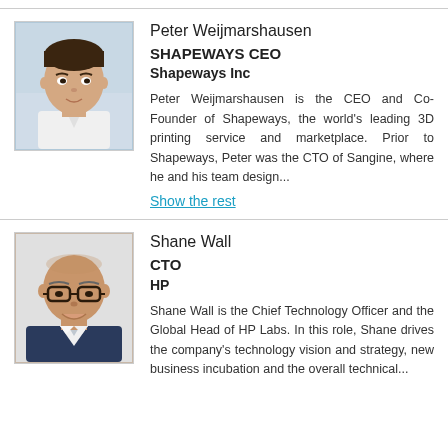[Figure (photo): Headshot photo of Peter Weijmarshausen, a man with dark hair wearing a white shirt, in a professional setting.]
Peter Weijmarshausen
SHAPEWAYS CEO
Shapeways Inc
Peter Weijmarshausen is the CEO and Co-Founder of Shapeways, the world's leading 3D printing service and marketplace. Prior to Shapeways, Peter was the CTO of Sangine, where he and his team design...
Show the rest
[Figure (photo): Headshot photo of Shane Wall, a bald man wearing glasses and a dark suit jacket with white shirt.]
Shane Wall
CTO
HP
Shane Wall is the Chief Technology Officer and the Global Head of HP Labs. In this role, Shane drives the company's technology vision and strategy, new business incubation and the overall technical...